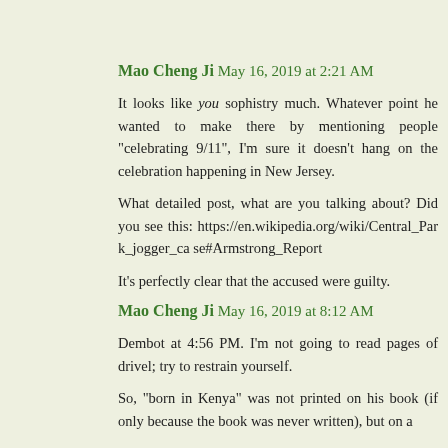Mao Cheng Ji May 16, 2019 at 2:21 AM
It looks like you sophistry much. Whatever point he wanted to make there by mentioning people "celebrating 9/11", I'm sure it doesn't hang on the celebration happening in New Jersey.

What detailed post, what are you talking about? Did you see this: https://en.wikipedia.org/wiki/Central_Park_jogger_case#Armstrong_Report

It's perfectly clear that the accused were guilty.
Mao Cheng Ji May 16, 2019 at 8:12 AM
Dembot at 4:56 PM. I'm not going to read pages of drivel; try to restrain yourself.

So, "born in Kenya" was not printed on his book (if only because the book was never written), but on a